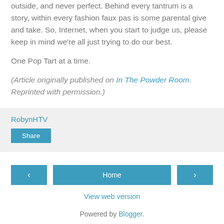outside, and never perfect. Behind every tantrum is a story, within every fashion faux pas is some parental give and take. So, Internet, when you start to judge us, please keep in mind we're all just trying to do our best.
One Pop Tart at a time.
(Article originally published on In The Powder Room. Reprinted with permission.)
RobynHTV
Share
< Home >
View web version
Powered by Blogger.